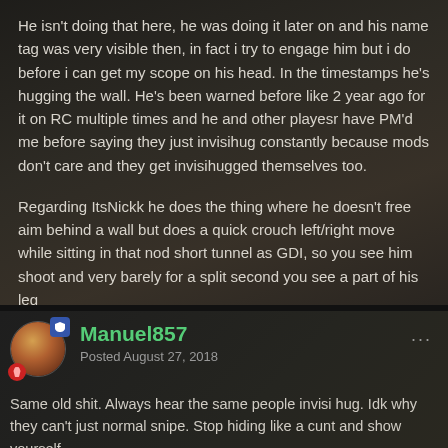He isn't doing that here, he was doing it later on and his name tag was very visible then, in fact i try to engage him but i do before i can get my scope on his head. In the timestamps he's hugging the wall. He's been warned before like 2 year ago for it on RC multiple times and he and other playesr have PM'd me before saying they just invisihug constantly because mods don't care and they get invisihugged themselves too.
Regarding ItsNickk he does the thing where he doesn't free aim behind a wall but does a quick crouch left/right move while sitting in that nod short tunnel as GDI, so you see him shoot and very barely for a split second you see a part of his leg
Manuel857
Posted August 27, 2018
Same old shit. Always hear the same people invisi hug. Idk why they can't just normal snipe. Stop hiding like a cunt and show yourself.